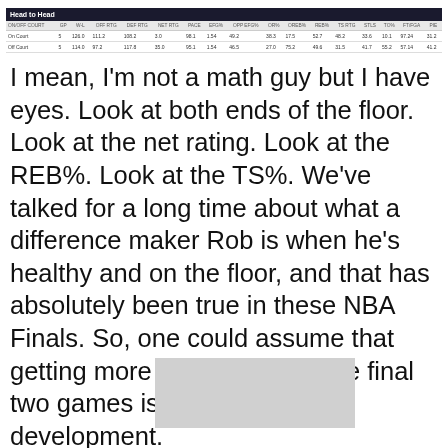| ON/OFF COURT | GP | W-L | OFFENSE RATING | DEFENSE RATING | NET RATING | PACE | EFG% | OPP EFG% | OR% | OREB% | REB% | TS RATING | STLS | TO% | FT/FGA | PIE |
| --- | --- | --- | --- | --- | --- | --- | --- | --- | --- | --- | --- | --- | --- | --- | --- | --- |
| On Court | 5 | 124.0 | 111.2 | 108.2 | 3.0 | 98.1 | 1.54 | 49.2 | 38.3 | 17.5 | 52.7 | 48.2 | 33.6 | 10.1 | 97.24 | 31.2 |
| Off Court | 5 | 114.0 | 97.2 | 117.8 | 35.0 | 95.1 | 1.54 | 46.5 | 27.0 | 75.2 | 49.6 | 31.5 | 41.7 | 55.2 | 57.14 | 41.2 |
I mean, I'm not a math guy but I have eyes. Look at both ends of the floor. Look at the net rating. Look at the REB%. Look at the TS%. We've talked for a long time about what a difference maker Rob is when he's healthy and on the floor, and that has absolutely been true in these NBA Finals. So, one could assume that getting more of Rob over these final two games is a pretty big development.
One thing I hope to see with Rob not only tonight but also in a potential Game 7, is everyone on the roster remembering that the Lob To Rob is virtually unstoppable and...